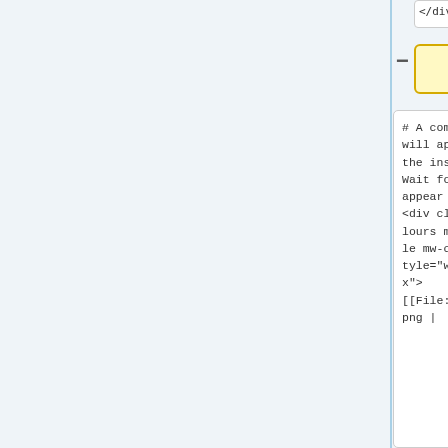[Figure (screenshot): Two white code boxes showing '</div>' text at the top, partially visible]
[Figure (screenshot): Yellow highlighted empty input box with minus sign on left]
# A command window will appear during the installation.  Wait for it to disappear on its own.
<div class="toccol ours mw-collapsible mw-collapsed" style="width:300px">
[[File:SPSS26-10.png |
# A command window will appear during the installation.  Wait for it to disappear on its own.
<div class="toccol ours mw-collapsible mw-collapsed" style="width:300px">
[[File:SPSS26-10.png |